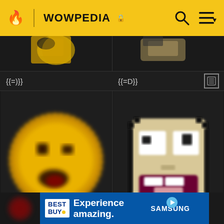WOWPEDIA
[Figure (screenshot): Cropped top portion of two emoji images from previous row, partially visible, dark background]
{{=)}}
{{=D}}
[Figure (illustration): Pixel art yellow smiley face emoji with winking expression on dark background, blurred rendering - labeled {{=P}}]
[Figure (illustration): Pixel art beige awesome face meme emoji with wide eyes and open mouth on dark background - labeled {{awesome}}]
{{=P}}
{{awesome}}
[Figure (screenshot): Best Buy advertisement banner: 'Experience amazing. SAMSUNG']
Experience amazing. SAMSUNG